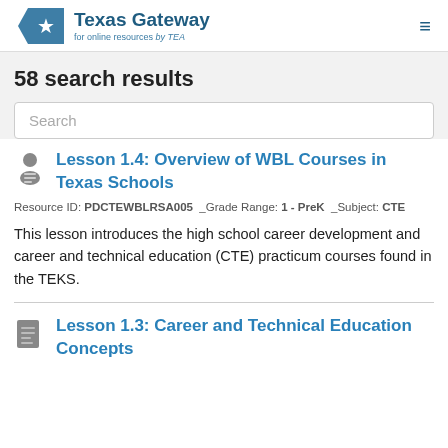Texas Gateway for online resources by TEA
58 search results
Search
Lesson 1.4: Overview of WBL Courses in Texas Schools
Resource ID: PDCTEWBLRSA005  _Grade Range: 1 - PreK  _Subject: CTE
This lesson introduces the high school career development and career and technical education (CTE) practicum courses found in the TEKS.
Lesson 1.3: Career and Technical Education Concepts